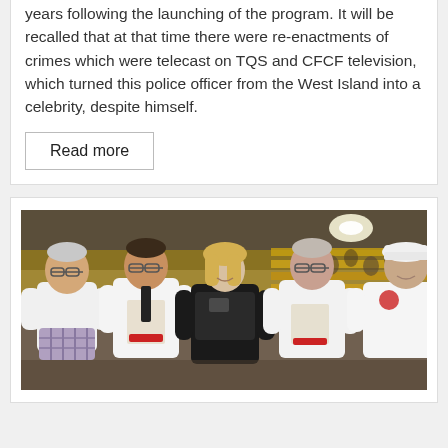years following the launching of the program. It will be recalled that at that time there were re-enactments of crimes which were telecast on TQS and CFCF television, which turned this police officer from the West Island into a celebrity, despite himself.
Read more
[Figure (photo): Group photo of five people posing together in a sports arena/stadium. From left to right: an older man in a white polo shirt with plaid shorts, a man in a white shirt with a graphic print and glasses, a woman in a black police uniform with body armor, a man in a white shirt with glasses, and a man in a white shirt and white cap. Stadium seating with yellow chairs is visible in the background.]